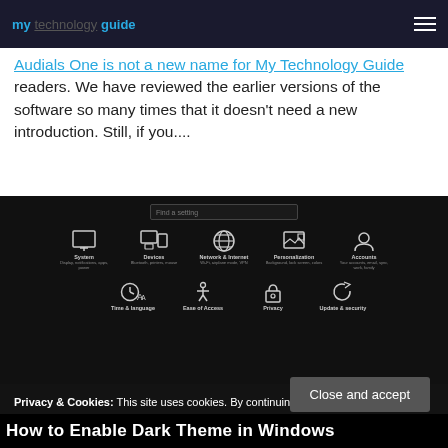my technology guide
Audials One is not a new name for My Technology Guide readers. We have reviewed the earlier versions of the software so many times that it doesn't need a new introduction. Still, if you....
[Figure (screenshot): Windows 10 Settings screen showing dark theme with icons: System, Devices, Network & Internet, Personalization, Accounts, Time & language, Ease of Access, Privacy, Update & security. A cookie consent overlay is shown at the bottom with Close and accept button.]
Privacy & Cookies: This site uses cookies. By continuing to use this website, you agree to their use. To find out more, including how to control cookies, see here: Cookie Policy
How to Enable Dark Theme in Windows